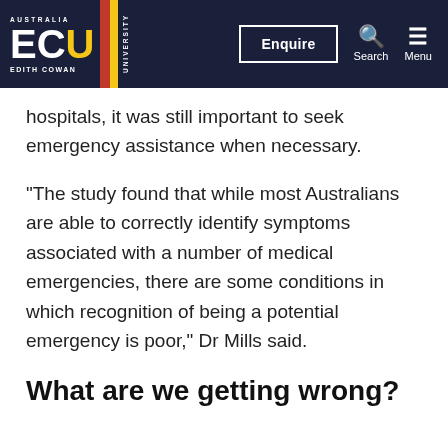ECU – Edith Cowan University – Enquire, Search, Menu
hospitals, it was still important to seek emergency assistance when necessary.
"The study found that while most Australians are able to correctly identify symptoms associated with a number of medical emergencies, there are some conditions in which recognition of being a potential emergency is poor," Dr Mills said.
What are we getting wrong?